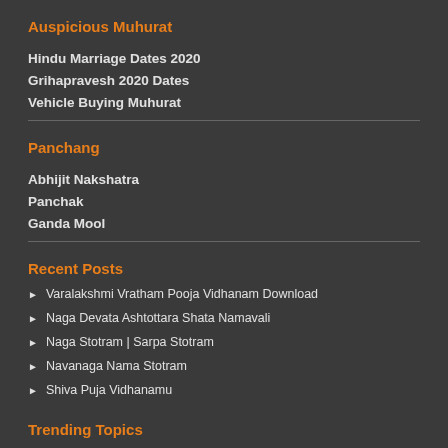Auspicious Muhurat
Hindu Marriage Dates 2020
Grihapravesh 2020 Dates
Vehicle Buying Muhurat
Panchang
Abhijit Nakshatra
Panchak
Ganda Mool
Recent Posts
Varalakshmi Vratham Pooja Vidhanam Download
Naga Devata Ashtottara Shata Namavali
Naga Stotram | Sarpa Stotram
Navanaga Nama Stotram
Shiva Puja Vidhanamu
Trending Topics